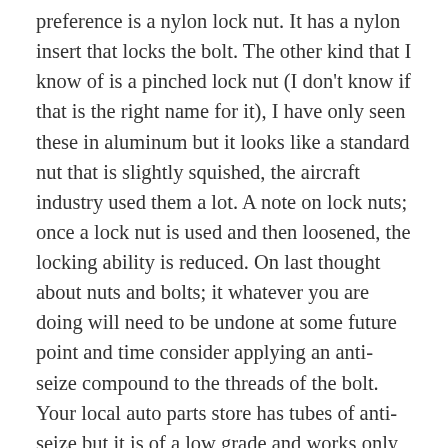preference is a nylon lock nut. It has a nylon insert that locks the bolt. The other kind that I know of is a pinched lock nut (I don't know if that is the right name for it), I have only seen these in aluminum but it looks like a standard nut that is slightly squished, the aircraft industry used them a lot. A note on lock nuts; once a lock nut is used and then loosened, the locking ability is reduced. On last thought about nuts and bolts; it whatever you are doing will need to be undone at some future point and time consider applying an anti-seize compound to the threads of the bolt. Your local auto parts store has tubes of anti-seize but it is of a low grade and works only so-so, but the tubes only costs from $3 to $5. If you can afford it buy an industrial grade. A bottle of industrial grade anti-seize about the size of a bottle of Tylenol can cost you up words of $45, but a little goes a very, very long way.